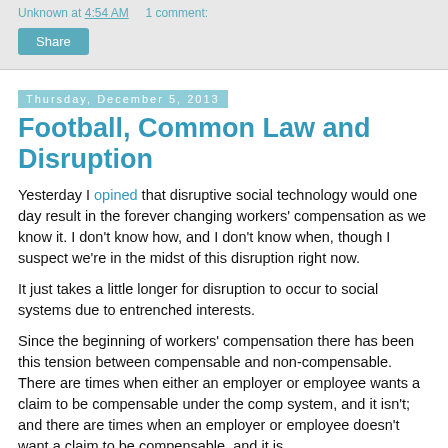Unknown at 4:54 AM    1 comment:
Share
Thursday, December 5, 2013
Football, Common Law and Disruption
Yesterday I opined that disruptive social technology would one day result in the forever changing workers' compensation as we know it. I don't know how, and I don't know when, though I suspect we're in the midst of this disruption right now.
It just takes a little longer for disruption to occur to social systems due to entrenched interests.
Since the beginning of workers' compensation there has been this tension between compensable and non-compensable. There are times when either an employer or employee wants a claim to be compensable under the comp system, and it isn't; and there are times when an employer or employee doesn't want a claim to be compensable, and it is.